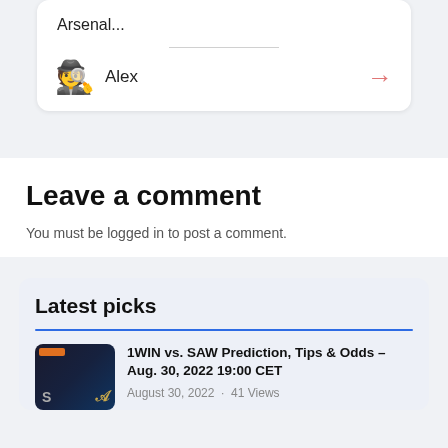Arsenal...
Alex
Leave a comment
You must be logged in to post a comment.
Latest picks
1WIN vs. SAW Prediction, Tips & Odds – Aug. 30, 2022 19:00 CET
August 30, 2022 · 41 Views